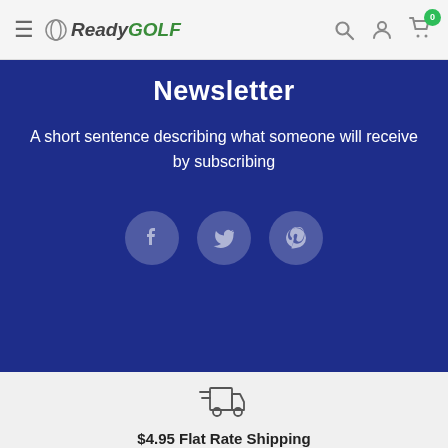ReadyGOLF
Newsletter
A short sentence describing what someone will receive by subscribing
[Figure (illustration): Social media icons: Facebook, Twitter, Pinterest in circular buttons]
[Figure (illustration): Fast shipping truck icon]
$4.95 Flat Rate Shipping
on all order under $100.00
[Figure (illustration): Package/box icon]